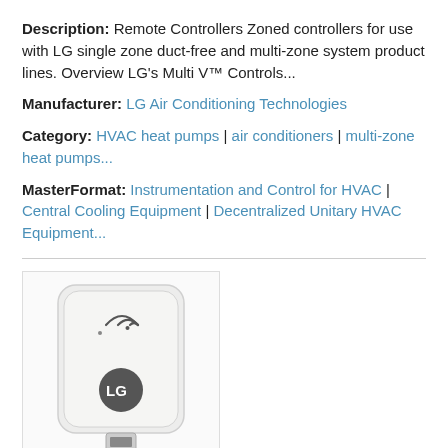Description: Remote Controllers Zoned controllers for use with LG single zone duct-free and multi-zone system product lines. Overview LG's Multi V™ Controls...
Manufacturer: LG Air Conditioning Technologies
Category: HVAC heat pumps | air conditioners | multi-zone heat pumps...
MasterFormat: Instrumentation and Control for HVAC | Central Cooling Equipment | Decentralized Unitary HVAC Equipment...
[Figure (photo): LG Wi-Fi Module device - white rectangular device with wifi symbol and USB connector]
LG Air Conditioning Technologies - Wi-Fi Module Series